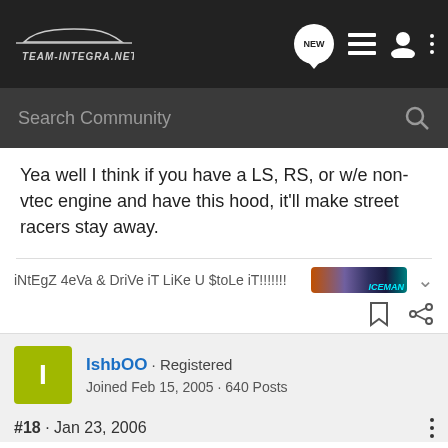[Figure (screenshot): Team-Integra.net forum website header with navigation bar showing logo, NEW chat bubble, list icon, user icon, and three-dots menu]
[Figure (screenshot): Search Community search bar on dark background]
Yea well I think if you have a LS, RS, or w/e non-vtec engine and have this hood, it'll make street racers stay away.
iNtEgZ 4eVa & DriVe iT LiKe U $toLe iT!!!!!!!!
IshbOO · Registered
Joined Feb 15, 2005 · 640 Posts
#18 · Jan 23, 2006